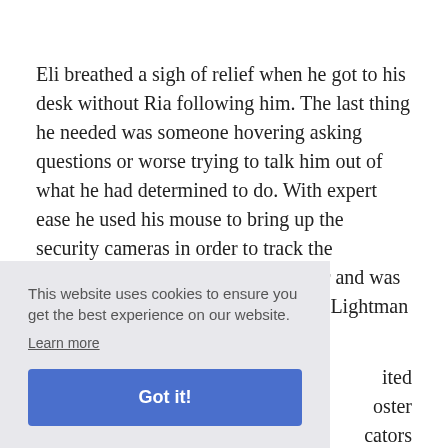Eli breathed a sigh of relief when he got to his desk without Ria following him. The last thing he needed was someone hovering asking questions or worse trying to talk him out of what he had determined to do. With expert ease he used his mouse to bring up the security cameras in order to track the whereabouts of Lightman and Foster and was more annoyed than surprised to find Lightman [partially obscured] ...ited ...oster ...cators ...s just ...re ...er ...or him to take her by surprise.
This website uses cookies to ensure you get the best experience on our website. Learn more
Got it!